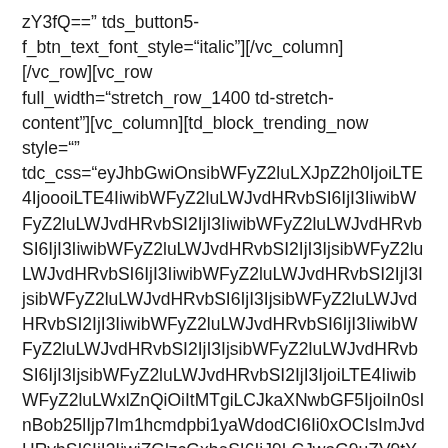zY3fQ==" tds_button5-f_btn_text_font_style="italic"][/vc_column][/vc_row][vc_row full_width="stretch_row_1400 td-stretch-content"][vc_column][td_block_trending_now style="" tdc_css="eyJhbGwiOnsibWFyZ2luLXJpZ2h0IjoiLTE4IiwibWFyZ2luLWJvdHRvbSI6IjI3IiwibWFyZ2luLWxlZnQiOiItMTgiLCJkaXNwbGF5IjoiIn0sInBob25lIjp7Im1hcmdpbi1yaWdodCI6Ii0xOCIsImJvdHRvbSI6IjI3IiwiZGlzcGxheSI6IiJ9LCJwaG9uZV9tYXhfd2lkdGgiOjc2N30=" header_color="#222222" f_title_font_family="394" f_article_font_family="394" f_article_font_weight="700" f_article_font_size="12" f_article_font_line_height="1"